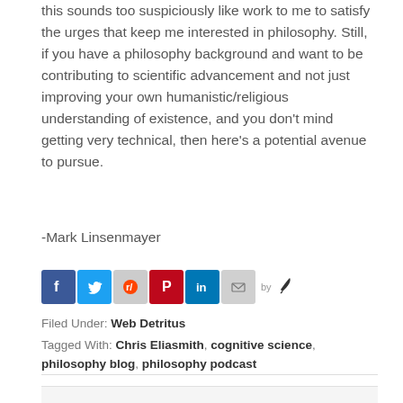this sounds too suspiciously like work to me to satisfy the urges that keep me interested in philosophy. Still, if you have a philosophy background and want to be contributing to scientific advancement and not just improving your own humanistic/religious understanding of existence, and you don't mind getting very technical, then here's a potential avenue to pursue.
-Mark Linsenmayer
[Figure (infographic): Social sharing icons: Facebook, Twitter, Reddit, Pinterest, LinkedIn, Email, by [feather icon]]
Filed Under: Web Detritus
Tagged With: Chris Eliasmith, cognitive science, philosophy blog, philosophy podcast
Comments